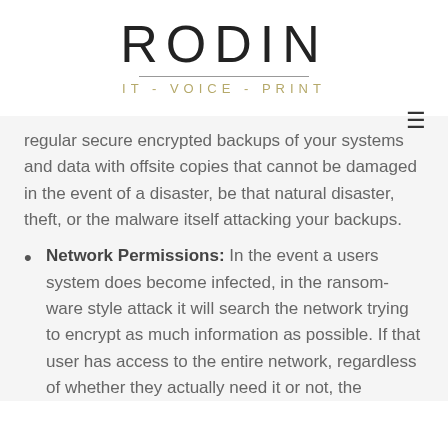[Figure (logo): Rodin IT - Voice - Print logo with large RODIN text, horizontal divider line, and subtitle IT - VOICE - PRINT in gold/olive color]
regular secure encrypted backups of your systems and data with offsite copies that cannot be damaged in the event of a disaster, be that natural disaster, theft, or the malware itself attacking your backups.
Network Permissions: In the event a users system does become infected, in the ransom-ware style attack it will search the network trying to encrypt as much information as possible. If that user has access to the entire network, regardless of whether they actually need it or not, the